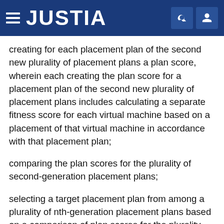JUSTIA
creating for each placement plan of the second new plurality of placement plans a plan score, wherein each creating the plan score for a placement plan of the second new plurality of placement plans includes calculating a separate fitness score for each virtual machine based on a placement of that virtual machine in accordance with that placement plan;
comparing the plan scores for the plurality of second-generation placement plans;
selecting a target placement plan from among a plurality of nth-generation placement plans based on a comparison of plan scores for the plurality nth generation placement plans, wherein the nth-generation is a second or subsequent generation;